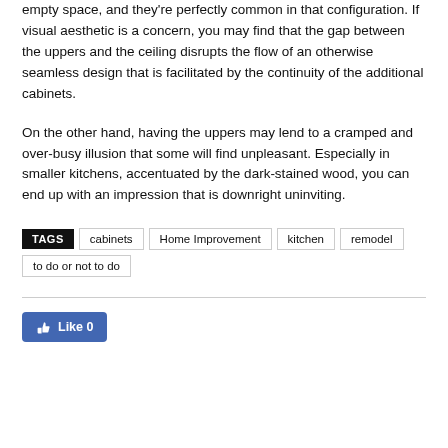empty space, and they're perfectly common in that configuration. If visual aesthetic is a concern, you may find that the gap between the uppers and the ceiling disrupts the flow of an otherwise seamless design that is facilitated by the continuity of the additional cabinets.
On the other hand, having the uppers may lend to a cramped and over-busy illusion that some will find unpleasant. Especially in smaller kitchens, accentuated by the dark-stained wood, you can end up with an impression that is downright uninviting.
TAGS  cabinets  Home Improvement  kitchen  remodel  to do or not to do
[Figure (other): Facebook Like button showing thumbs up icon and Like 0]
Like 0